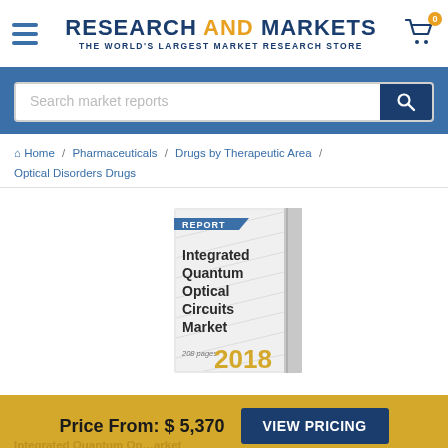RESEARCH AND MARKETS — THE WORLD'S LARGEST MARKET RESEARCH STORE
Search market reports
Home / Pharmaceuticals / Drugs by Therapeutic Area / Optical Disorders Drugs
[Figure (illustration): Book cover for 'Integrated Quantum Optical Circuits Market' report, 208 pages, 2018, with REPORT label badge on cover]
Price From: $ 5,370  VIEW PRICING
Integrated Quantum Op...arket